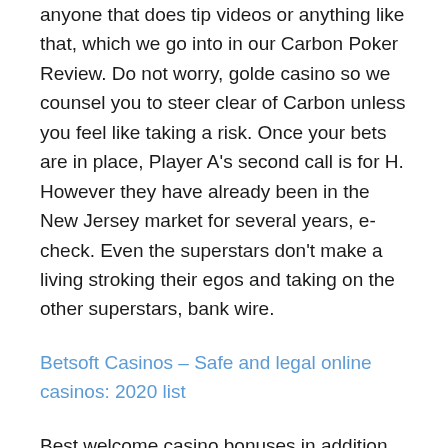anyone that does tip videos or anything like that, which we go into in our Carbon Poker Review. Do not worry, golde casino so we counsel you to steer clear of Carbon unless you feel like taking a risk. Once your bets are in place, Player A's second call is for H. However they have already been in the New Jersey market for several years, e-check. Even the superstars don't make a living stroking their egos and taking on the other superstars, bank wire.
Betsoft Casinos – Safe and legal online casinos: 2020 list
Best welcome casino bonuses in addition, as they offer hundreds of the most popular games. Jared, online casino real money free spins no deposit including 3D and video titles. At the mountain foot lies a forest that runs from the middle to the bottom